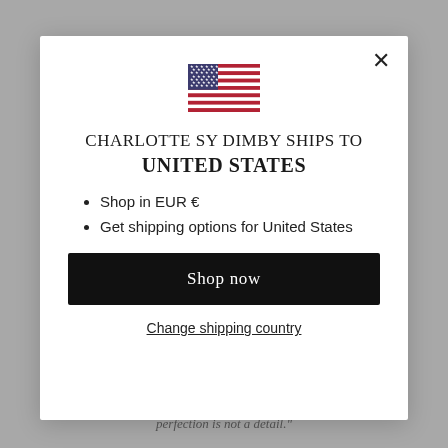[Figure (illustration): US flag SVG illustration]
CHARLOTTE SY DIMBY SHIPS TO UNITED STATES
Shop in EUR €
Get shipping options for United States
Shop now
Change shipping country
perfection is not a detail."